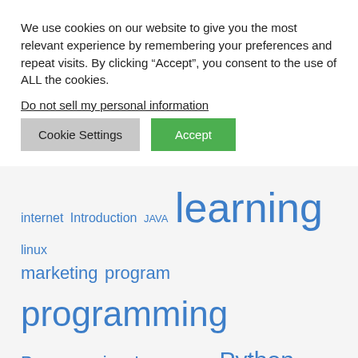We use cookies on our website to give you the most relevant experience by remembering your preferences and repeat visits. By clicking “Accept”, you consent to the use of ALL the cookies.
Do not sell my personal information.
[Figure (other): Cookie consent buttons: 'Cookie Settings' (grey) and 'Accept' (green)]
[Figure (infographic): Tag cloud with education-related keywords in varying sizes: internet, Introduction, JAVA, learning (large), linux, marketing, program, programming (large), Programming Language, Python, Security, tools (large), Tutorials (huge), link (huge), google (huge), drive (huge), Udemy (large), web (large), web development, windows, youtube]